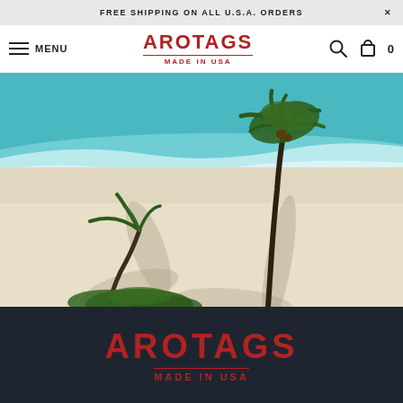FREE SHIPPING ON ALL U.S.A. ORDERS
AROTAGS MADE IN USA | MENU | 0
[Figure (photo): Aerial view of a tropical beach with turquoise ocean water, white sandy shore, and palm trees casting shadows on the sand.]
[Figure (logo): AROTAGS MADE IN USA logo in red on dark navy background]